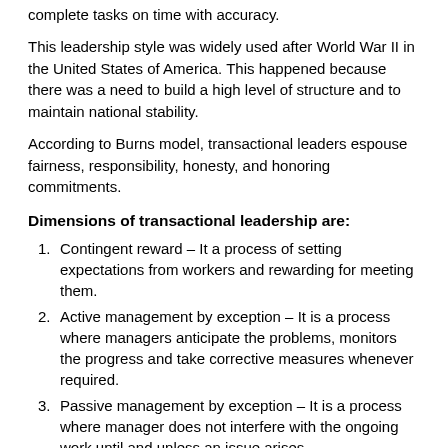complete tasks on time with accuracy.
This leadership style was widely used after World War II in the United States of America. This happened because there was a need to build a high level of structure and to maintain national stability.
According to Burns model, transactional leaders espouse fairness, responsibility, honesty, and honoring commitments.
Dimensions of transactional leadership are:
Contingent reward – It a process of setting expectations from workers and rewarding for meeting them.
Active management by exception – It is a process where managers anticipate the problems, monitors the progress and take corrective measures whenever required.
Passive management by exception – It is a process where manager does not interfere with the ongoing work until and unless an issue arises.
Characteristics of transactional leadership style:
Thrive on following rules and doing things correctly.